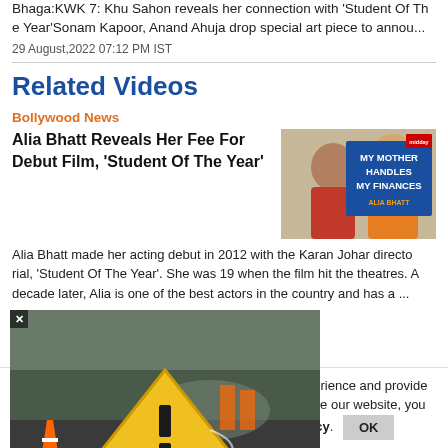Bhaga:KWK 7: Khu Sahon reveals her connection with 'Student Of The Year'Sonam Kapoor, Anand Ahuja drop special art piece to annou...
29 August,2022 07:12 PM IST
Related Videos
Bollywood News
Alia Bhatt Reveals Her Fee For Debut Film, 'Student Of The Year'
[Figure (photo): Thumbnail image showing two women with text overlay: MY MOTHER HANDLES MY FINANCES ALIA BHATT, with a red MX Player logo in corner]
Alia Bhatt made her acting debut in 2012 with the Karan Johar directorial, 'Student Of The Year'. She was 19 when the film hit the theatres. A decade later, Alia is one of the best actors in the country and has a ...
[Figure (photo): Popup overlay image showing an accident warning sign (yellow triangle with exclamation mark) and traffic cones on a road with emergency personnel in the background. Label says 'Accident'.]
[Figure (photo): Thumbnail showing women, partially visible, with MX Player logo in corner, dark purple background]
nilar technologies, to enhance your browsing experience and provide personalised recommendations. By continuing to use our website, you agree to our Privacy Policy and Cookie Policy.